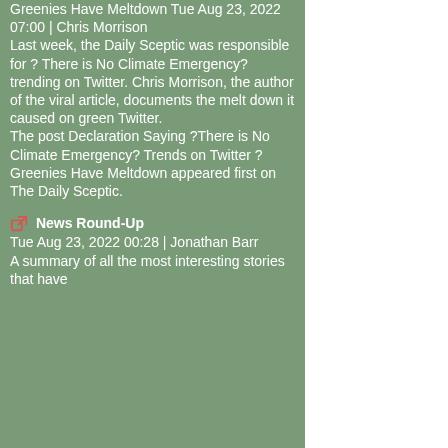Greenies Have Meltdown Tue Aug 23, 2022 07:00 | Chris Morrison
Last week, the Daily Sceptic was responsible for ? There is No Climate Emergency? trending on Twitter. Chris Morrison, the author of the viral article, documents the melt down it caused on green Twitter.
The post Declaration Saying ?There is No Climate Emergency? Trends on Twitter ? Greenies Have Meltdown appeared first on The Daily Sceptic.
News Round-Up Tue Aug 23, 2022 00:28 | Jonathan Barr
A summary of all the most interesting stories that have